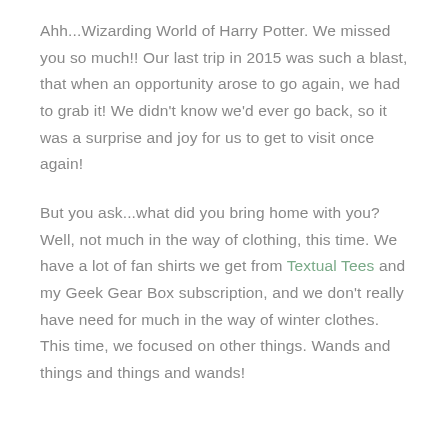Ahh...Wizarding World of Harry Potter. We missed you so much!! Our last trip in 2015 was such a blast, that when an opportunity arose to go again, we had to grab it! We didn't know we'd ever go back, so it was a surprise and joy for us to get to visit once again!
But you ask...what did you bring home with you? Well, not much in the way of clothing, this time. We have a lot of fan shirts we get from Textual Tees and my Geek Gear Box subscription, and we don't really have need for much in the way of winter clothes. This time, we focused on other things. Wands and things and things and wands!